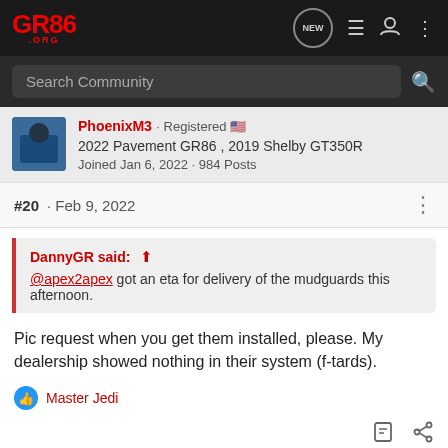GR86.ORG — navigation header with NEW, list, user, and menu icons
Search Community
PhoenixM3 · Registered 🇺🇸
2022 Pavement GR86 , 2019 Shelby GT350R
Joined Jan 6, 2022 · 984 Posts
#20 · Feb 9, 2022
DannyGR said: ↑
@apex2apex got an eta for delivery of the mudguards this afternoon.
Pic request when you get them installed, please. My dealership showed nothing in their system (f-tards).
Master Jedi